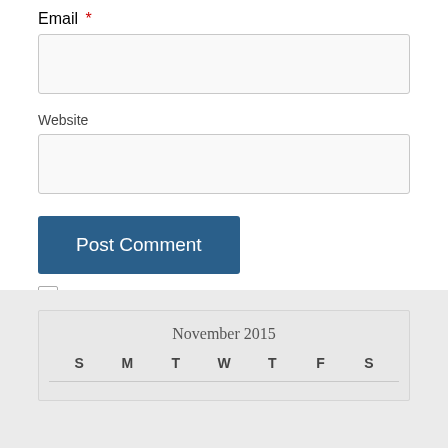Email *
Website
Post Comment
Notify me of new comments via email.
Notify me of new posts via email.
November 2015
| S | M | T | W | T | F | S |
| --- | --- | --- | --- | --- | --- | --- |